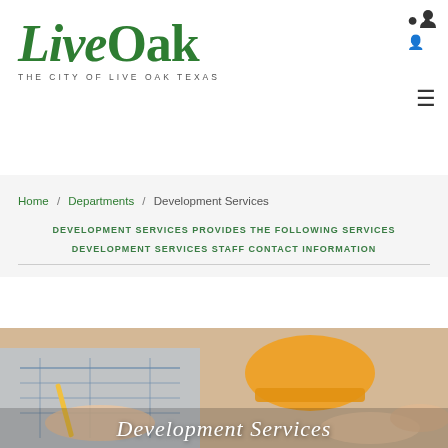LiveOak — THE CITY OF LIVE OAK TEXAS
Home / Departments / Development Services
DEVELOPMENT SERVICES PROVIDES THE FOLLOWING SERVICES
DEVELOPMENT SERVICES STAFF CONTACT INFORMATION
[Figure (photo): Hands reviewing blueprints/plans with hard hats visible, construction services context. Text overlay: 'Development Services']